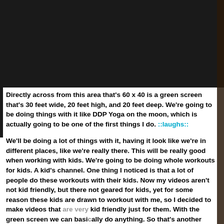[Figure (photo): Dark background image at top of page, partially visible]
Directly across from this area that's 60 x 40 is a green screen that's 30 feet wide, 20 feet high, and 20 feet deep. We're going to be doing things with it like DDP Yoga on the moon, which is actually going to be one of the first things I do. ::laughs::
We'll be doing a lot of things with it, having it look like we're in different places, like we're really there. This will be really good when working with kids. We're going to be doing whole workouts for kids. A kid's channel. One thing I noticed is that a lot of people do these workouts with their kids. Now my videos aren't not kid friendly, but there not geared for kids, yet for some reason these kids are drawn to workout with me, so I decided to make videos that are very kid friendly just for them. With the green screen we can basically do anything. So that's another thing we're working on. No one has